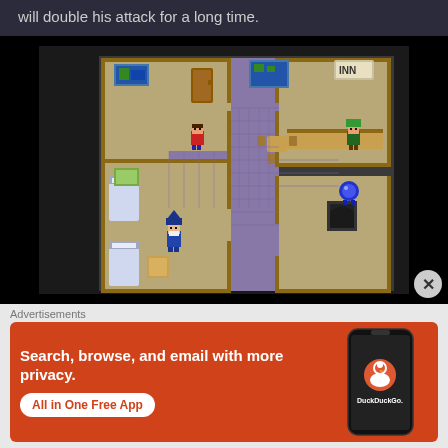will double his attack for a long time.
[Figure (screenshot): Top-down RPG game screenshot showing inn/town interior with tiled stone floors, multiple rooms, characters including a hero in red, a wizard in blue, and an innkeeper in green. The scene shows beds, furniture, and doorways in classic JRPG style.]
Advertisements
[Figure (other): DuckDuckGo advertisement banner with orange/red background. Text reads 'Search, browse, and email with more privacy. All in One Free App' with DuckDuckGo logo and phone image.]